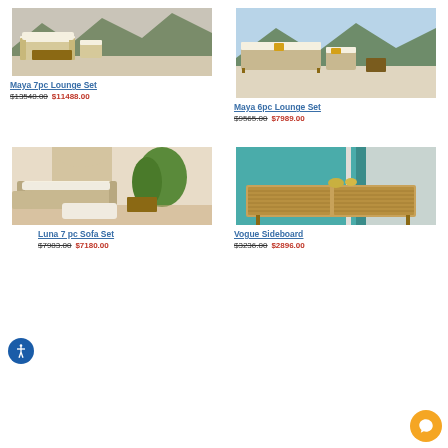[Figure (photo): Maya 7pc Lounge Set - outdoor teak furniture set with sofa, armchairs and coffee table on patio]
Maya 7pc Lounge Set
$13548.00 $11488.00
[Figure (photo): Maya 6pc Lounge Set - outdoor teak modular sofa set with armchair on stone terrace with mountain backdrop]
Maya 6pc Lounge Set
$9565.00 $7989.00
[Figure (photo): Luna 7 pc Sofa Set - indoor teak sofa set with cream cushions, armchairs and ottoman in sunlit room with plants]
Luna 7 pc Sofa Set
$7983.00 $7180.00
[Figure (photo): Vogue Sideboard - teak slatted sideboard cabinet against teal/blue-green wall]
Vogue Sideboard
$3236.00 $2896.00